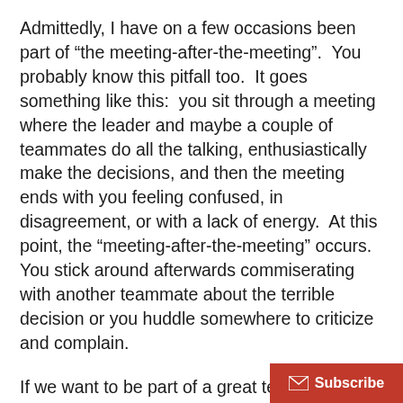Admittedly, I have on a few occasions been part of “the meeting-after-the-meeting”.  You probably know this pitfall too.  It goes something like this:  you sit through a meeting where the leader and maybe a couple of teammates do all the talking, enthusiastically make the decisions, and then the meeting ends with you feeling confused, in disagreement, or with a lack of energy.  At this point, the “meeting-after-the-meeting” occurs.  You stick around afterwards commiserating with another teammate about the terrible decision or you huddle somewhere to criticize and complain.
If we want to be part of a great team then we need to risk speaking up during the meeting and sharing our thoughts, ideas, and disagreements.  Obviously, we need to be respectful but if we do not speak up, the team misses out on valuable input and possibly the best idea for great success.  Let’s decide today to stop “meeting-after-the-meeting” and make sure each team member is encouraged t…